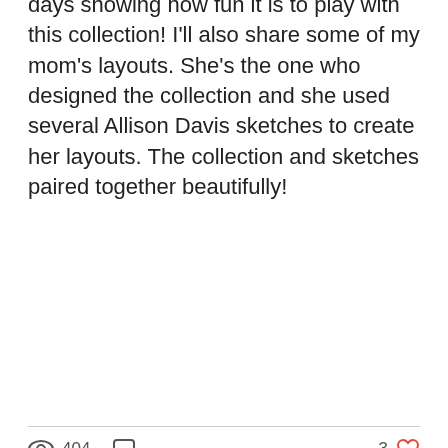days showing how fun it is to play with this collection! I'll also share some of my mom's layouts. She's the one who designed the collection and she used several Allison Davis sketches to create her layouts. The collection and sketches paired together beautifully!
404 views  0 comments  3 likes
Recent Posts
See All
[Figure (photo): Three thumbnail images side by side: left partial colorful scrapbook page, middle beach/summer scrapbook layout with children photos and 'Sun!' text, right partial grid-patterned page. Upload arrow button overlay top-right, blue more-options button bottom-right.]